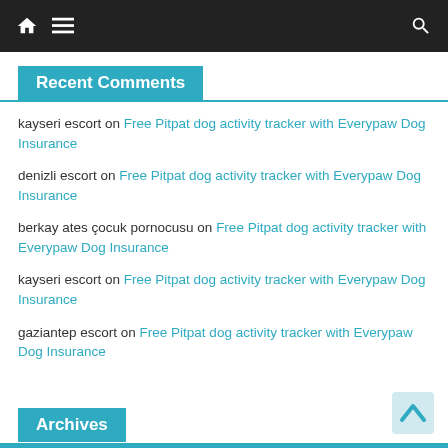Navigation bar with home, menu, and search icons
Recent Comments
kayseri escort on Free Pitpat dog activity tracker with Everypaw Dog Insurance
denizli escort on Free Pitpat dog activity tracker with Everypaw Dog Insurance
berkay ates çocuk pornocusu on Free Pitpat dog activity tracker with Everypaw Dog Insurance
kayseri escort on Free Pitpat dog activity tracker with Everypaw Dog Insurance
gaziantep escort on Free Pitpat dog activity tracker with Everypaw Dog Insurance
Archives